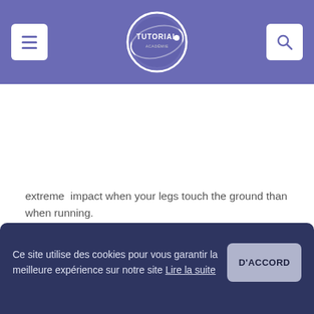Tutorial (logo) — menu and search buttons
extreme  impact when your legs touch the ground than when running.
Ce site utilise des cookies pour vous garantir la meilleure expérience sur notre site Lire la suite D'ACCORD